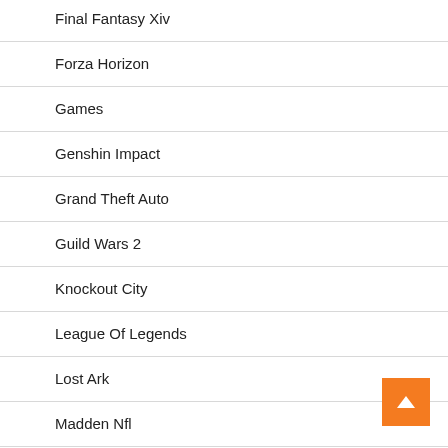Final Fantasy Xiv
Forza Horizon
Games
Genshin Impact
Grand Theft Auto
Guild Wars 2
Knockout City
League Of Legends
Lost Ark
Madden Nfl
Marvel Future Revolution